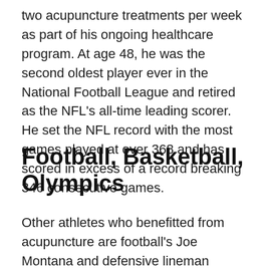two acupuncture treatments per week as part of his ongoing healthcare program. At age 48, he was the second oldest player ever in the National Football League and retired as the NFL's all-time leading scorer. He set the NFL record with the most games played at over 368 and has scored in excess of a record breaking 346 consecutive games.
Football, Basketball, Olympics
Other athletes who benefitted from acupuncture are football's Joe Montana and defensive lineman Michael Strahan, basketball's